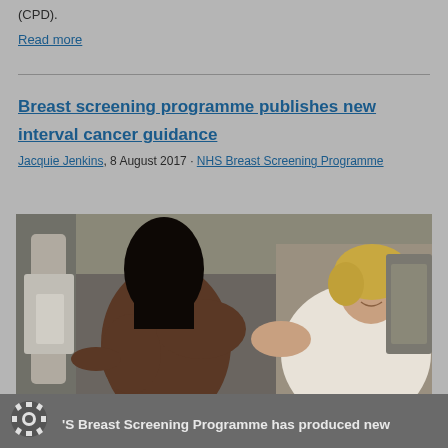(CPD).
Read more
Breast screening programme publishes new interval cancer guidance
Jacquie Jenkins, 8 August 2017 · NHS Breast Screening Programme
[Figure (photo): Mammography screening scene showing a patient (back view, dark skin, long dark hair) at a mammography machine on the left, and a smiling nurse with curly blonde hair on the right, wearing a white uniform, gently assisting the patient.]
HS Breast Screening Programme has produced new